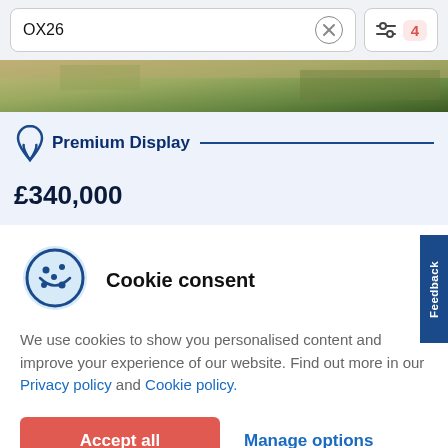OX26
[Figure (photo): Aerial view of greenery and pathways, partial crop at top of listing card]
Premium Display
£340,000
Cookie consent
We use cookies to show you personalised content and improve your experience of our website. Find out more in our Privacy policy and Cookie policy.
Accept all
Manage options